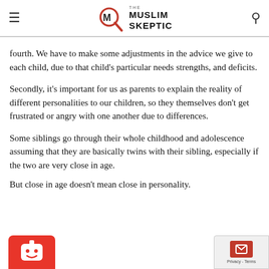The Muslim Skeptic
fourth. We have to make some adjustments in the advice we give to each child, due to that child's particular needs strengths, and deficits.
Secondly, it's important for us as parents to explain the reality of different personalities to our children, so they themselves don't get frustrated or angry with one another due to differences.
Some siblings go through their whole childhood and adolescence assuming that they are basically twins with their sibling, especially if the two are very close in age.
But close in age doesn't mean close in personality.